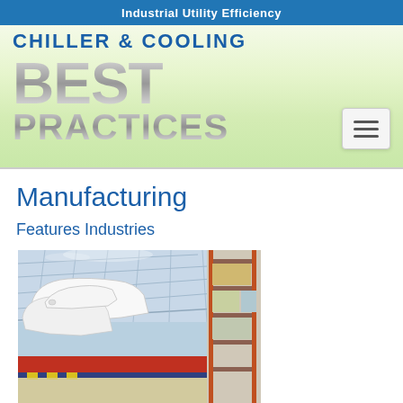Industrial Utility Efficiency
CHILLER & COOLING BEST PRACTICES
Manufacturing
Features Industries
[Figure (photo): Automotive manufacturing plant interior showing white car body panels on an assembly line conveyor with industrial ceiling grid structure and warehouse shelving in background]